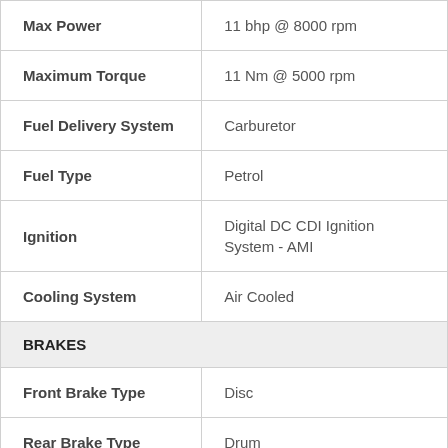| Specification | Value |
| --- | --- |
| Max Power | 11 bhp @ 8000 rpm |
| Maximum Torque | 11 Nm @ 5000 rpm |
| Fuel Delivery System | Carburetor |
| Fuel Type | Petrol |
| Ignition | Digital DC CDI Ignition System - AMI |
| Cooling System | Air Cooled |
| BRAKES |  |
| Front Brake Type | Disc |
| Rear Brake Type | Drum |